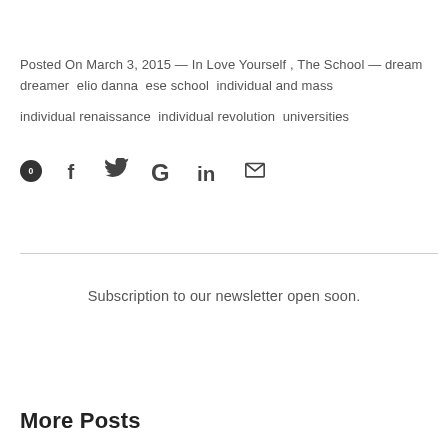Posted On March 3, 2015 — In Love Yourself , The School — dream dreamer elio danna ese school individual and mass individual renaissance individual revolution universities
[Figure (infographic): Social sharing icons row: circle with 0, Facebook f, Twitter bird, Google G, LinkedIn in, email envelope]
Subscription to our newsletter open soon.
More Posts